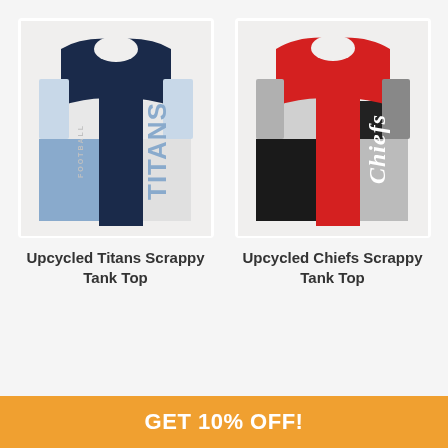[Figure (photo): Upcycled Titans Scrappy Tank Top made from patchwork NFL team fabric in navy, white, and light blue with TITANS FOOTBALL text]
Upcycled Titans Scrappy Tank Top
[Figure (photo): Upcycled Chiefs Scrappy Tank Top made from patchwork fabric in red, gray, and black with Chiefs cursive text]
Upcycled Chiefs Scrappy Tank Top
GET 10% OFF!